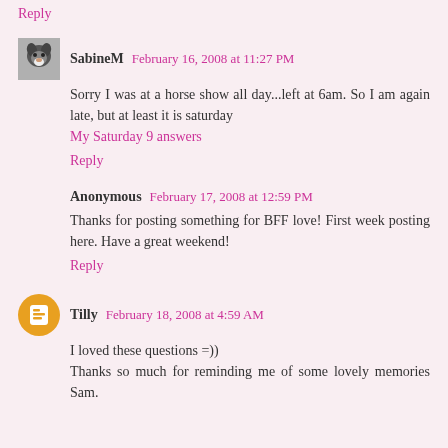Reply
SabineM   February 16, 2008 at 11:27 PM
Sorry I was at a horse show all day...left at 6am. So I am again late, but at least it is saturday
My Saturday 9 answers
Reply
Anonymous   February 17, 2008 at 12:59 PM
Thanks for posting something for BFF love! First week posting here. Have a great weekend!
Reply
Tilly   February 18, 2008 at 4:59 AM
I loved these questions =))
Thanks so much for reminding me of some lovely memories Sam.